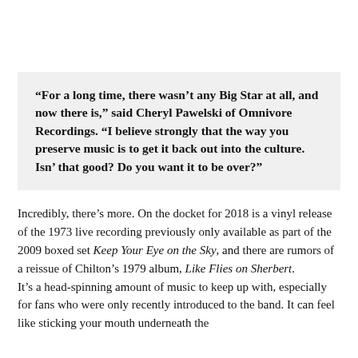“For a long time, there wasn’t any Big Star at all, and now there is,” said Cheryl Pawelski of Omnivore Recordings. “I believe strongly that the way you preserve music is to get it back out into the culture. Isn’ that good? Do you want it to be over?”
Incredibly, there’s more. On the docket for 2018 is a vinyl release of the 1973 live recording previously only available as part of the 2009 boxed set Keep Your Eye on the Sky, and there are rumors of a reissue of Chilton’s 1979 album, Like Flies on Sherbert.
It’s a head-spinning amount of music to keep up with, especially for fans who were only recently introduced to the band. It can feel like sticking your mouth underneath the